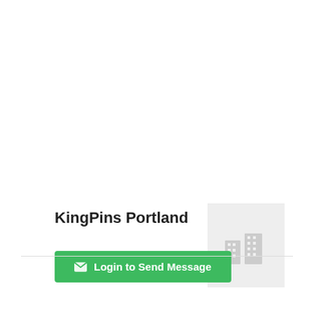KingPins Portland
[Figure (illustration): Placeholder image with a light gray background showing a faded building/city skyline icon in gray]
Login to Send Message